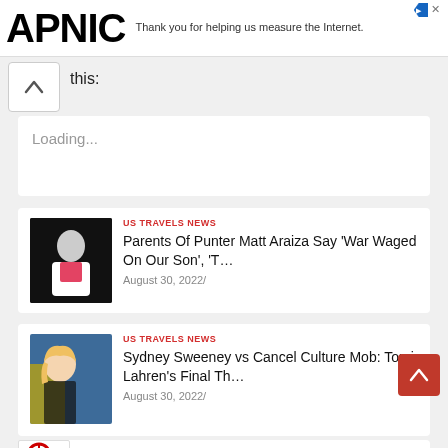APNIC — Thank you for helping us measure the Internet.
this:
Loading...
US TRAVELS NEWS
Parents Of Punter Matt Araiza Say 'War Waged On Our Son', 'T…
August 30, 2022/
US TRAVELS NEWS
Sydney Sweeney vs Cancel Culture Mob: Tomi Lahren's Final Th…
August 30, 2022/
US TRAVELS NEWS